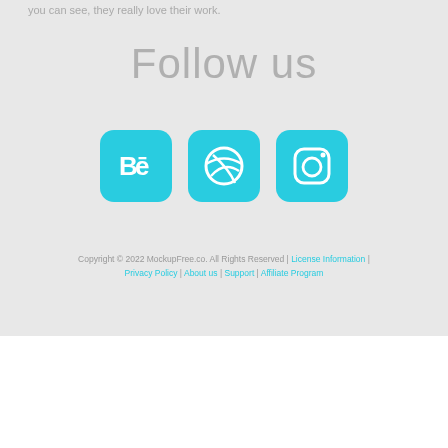you can see, they really love their work.
Follow us
[Figure (illustration): Three social media icons in cyan/turquoise rounded square buttons: Behance (Be), Dribbble (ball with lines), Instagram (camera outline)]
Copyright © 2022 MockupFree.co. All Rights Reserved | License Information | Privacy Policy | About us | Support | Affiliate Program